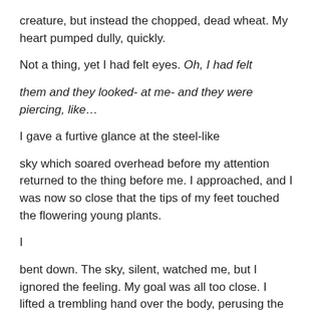creature, but instead the chopped, dead wheat. My heart pumped dully, quickly.
Not a thing, yet I had felt eyes. Oh, I had felt
them and they looked- at me- and they were piercing, like…
I gave a furtive glance at the steel-like
sky which soared overhead before my attention returned to the thing before me. I approached, and I was now so close that the tips of my feet touched the flowering young plants.
I
bent down. The sky, silent, watched me, but I ignored the feeling. My goal was all too close. I lifted a trembling hand over the body, perusing the skin with my eyes. Blooming under the skin, delicate-